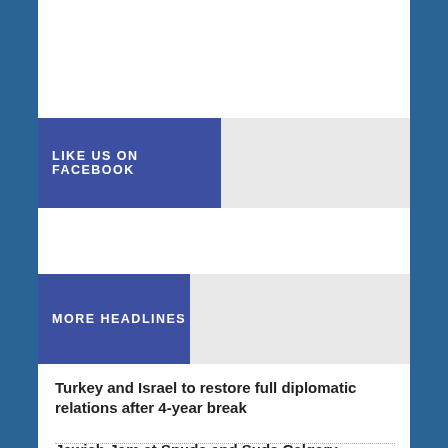[Figure (infographic): LIKE US ON FACEBOOK button/banner with blue left section and gray right section]
[Figure (infographic): MORE HEADLINES button/banner with blue left section and gray right section]
Turkey and Israel to restore full diplomatic relations after 4-year break
Jewish Jam at Spuds and Suds Calgary Stampede